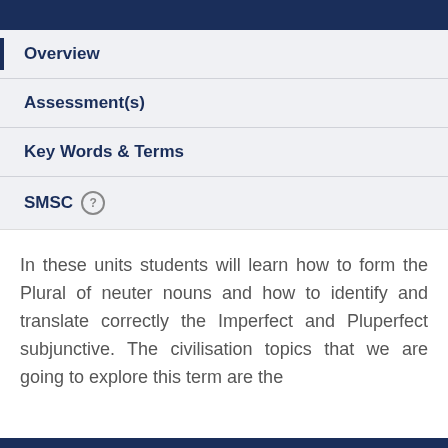Overview
Assessment(s)
Key Words & Terms
SMSC
In these units students will learn how to form the Plural of neuter nouns and how to identify and translate correctly the Imperfect and Pluperfect subjunctive. The civilisation topics that we are going to explore this term are the